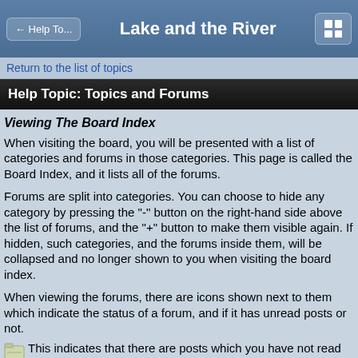← Help To...   Lake and the River
Return to the list of topics
Help Topic: Topics and Forums
Viewing The Board Index
When visiting the board, you will be presented with a list of categories and forums in those categories. This page is called the Board Index, and it lists all of the forums.
Forums are split into categories. You can choose to hide any category by pressing the "-" button on the right-hand side above the list of forums, and the "+" button to make them visible again. If hidden, such categories, and the forums inside them, will be collapsed and no longer shown to you when visiting the board index.
When viewing the forums, there are icons shown next to them which indicate the status of a forum, and if it has unread posts or not.
This indicates that there are posts which you have not read contained inside this forum, or one of it's sub forums.
This indicates that all of the posts contained in this forum and it's sub forums have been read.
Redirect forum, when you enter this forum you will be redirected elsewhere.
The Topic List